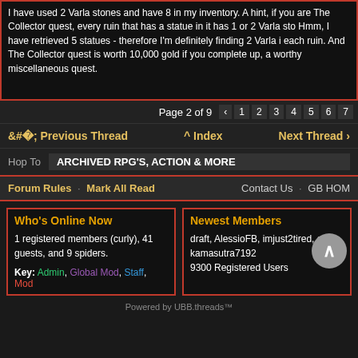I have used 2 Varla stones and have 8 in my inventory. A hint, if you are The Collector quest, every ruin that has a statue in it has 1 or 2 Varla sto Hmm, I have retrieved 5 statues - therefore I'm definitely finding 2 Varla i each ruin. And The Collector quest is worth 10,000 gold if you complete up, a worthy miscellaneous quest.
Page 2 of 9 ‹ 1 2 3 4 5 6 7
‹ Previous Thread   ˄ Index   Next Thread ›
Hop To   ARCHIVED RPG'S, ACTION & MORE
Forum Rules · Mark All Read    Contact Us · GB HOM
Who's Online Now
1 registered members (curly), 41 guests, and 9 spiders.
Key: Admin, Global Mod, Staff, Mod
Newest Members
draft, AlessioFB, imjust2tired, ahaf, kamasutra7192
9300 Registered Users
Powered by UBB.threads™